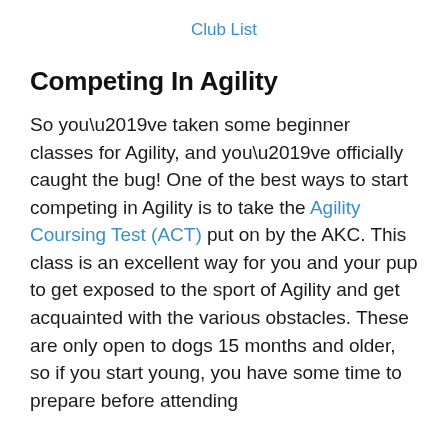Club List
Competing In Agility
So you’ve taken some beginner classes for Agility, and you’ve officially caught the bug! One of the best ways to start competing in Agility is to take the Agility Coursing Test (ACT) put on by the AKC. This class is an excellent way for you and your pup to get exposed to the sport of Agility and get acquainted with the various obstacles. These are only open to dogs 15 months and older, so if you start young, you have some time to prepare before attending